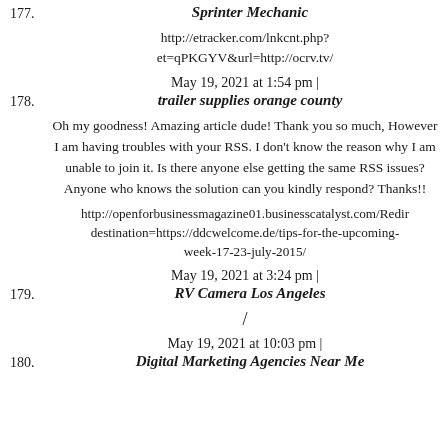177. Sprinter Mechanic
http://etracker.com/lnkcnt.php?et=qPKGYV&url=http://ocrv.tv/
May 19, 2021 at 1:54 pm |
178. trailer supplies orange county
Oh my goodness! Amazing article dude! Thank you so much, However I am having troubles with your RSS. I don't know the reason why I am unable to join it. Is there anyone else getting the same RSS issues? Anyone who knows the solution can you kindly respond? Thanks!!
http://openforbusinessmagazine01.businesscatalyst.com/Redirect.aspx?destination=https://ddcwelcome.de/tips-for-the-upcoming-week-17-23-july-2015/
May 19, 2021 at 3:24 pm |
179. RV Camera Los Angeles
/
May 19, 2021 at 10:03 pm |
180. Digital Marketing Agencies Near Me